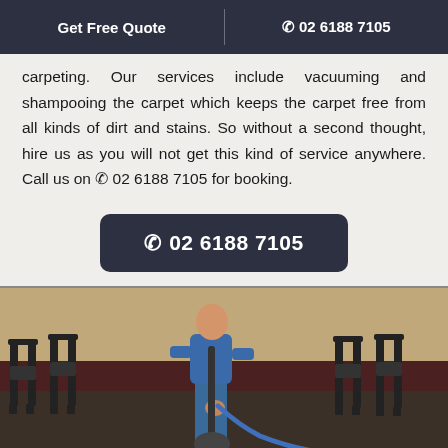Get Free Quote | ☎ 02 6188 7105
carpeting. Our services include vacuuming and shampooing the carpet which keeps the carpet free from all kinds of dirt and stains. So without a second thought, hire us as you will not get this kind of service anywhere. Call us on ☎ 02 6188 7105 for booking.
☎ 02 6188 7105
[Figure (photo): A person in blue jeans and blue t-shirt using a carpet cleaning machine in a restaurant or venue with dark wooden chairs in the background.]